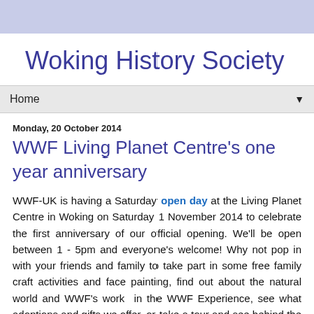Woking History Society
Home
Monday, 20 October 2014
WWF Living Planet Centre's one year anniversary
WWF-UK is having a Saturday open day at the Living Planet Centre in Woking on Saturday 1 November 2014 to celebrate the first anniversary of our official opening. We'll be open between 1 - 5pm and everyone's welcome! Why not pop in with your friends and family to take part in some free family craft activities and face painting, find out about the natural world and WWF's work  in the WWF Experience, see what adoptions and gifts we offer, or take a tour and see behind the scenes of our fantastic building!